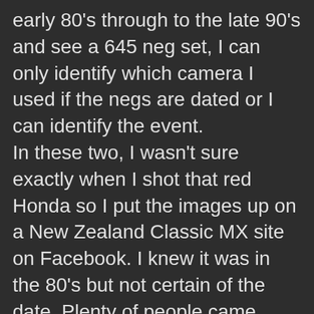early 80's through to the late 90's and see a 645 neg set, I can only identify which camera I used if the negs are dated or I can identify the event.
In these two, I wasn't sure exactly when I shot that red Honda so I put the images up on a New Zealand Classic MX site on Facebook. I knew it was in the 80's but not certain of the date. Plenty of people came back and gave me the exact event and date and place plus the name of the rider and exact model of the bike.
For the shot of the Britten, it's different, In 1989 I moved to Christchurch (where the